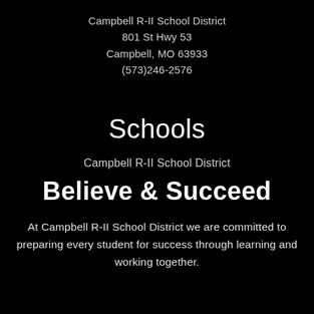Campbell R-II School District
801 St Hwy 53
Campbell, MO 63933
(573)246-2576
Schools
Campbell R-II School District
Believe & Succeed
At Campbell R-II School District we are committed to preparing every student for success through learning and working together.